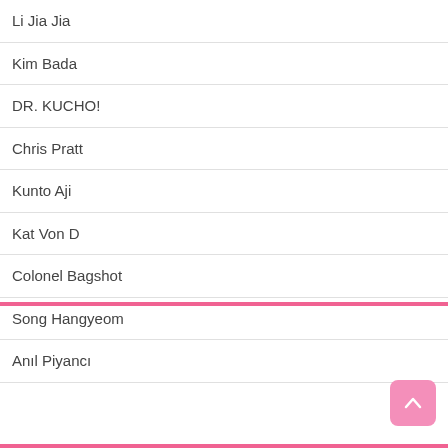Li Jia Jia
Kim Bada
DR. KUCHO!
Chris Pratt
Kunto Aji
Kat Von D
Colonel Bagshot
Song Hangyeom
Anıl Piyancı